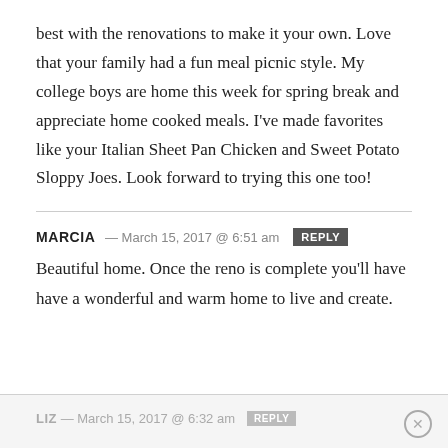best with the renovations to make it your own.  Love that your family had a fun meal picnic style.  My college boys are home this week for spring break and appreciate home cooked meals.  I've made favorites like your Italian Sheet Pan Chicken and Sweet Potato Sloppy Joes.  Look forward to trying this one too!
MARCIA — March 15, 2017 @ 6:51 am  REPLY
Beautiful home. Once the reno is complete you'll have have a wonderful and warm home to live and create.
LIZ — March 15, 2017 @ 6:32 am  REPLY